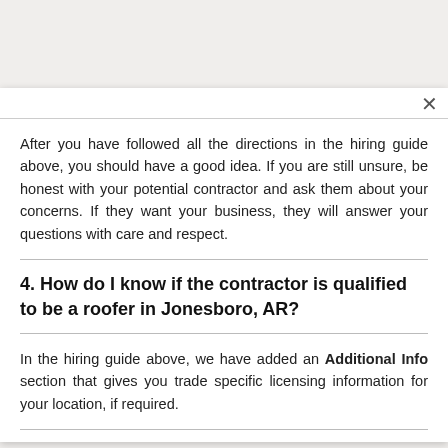After you have followed all the directions in the hiring guide above, you should have a good idea. If you are still unsure, be honest with your potential contractor and ask them about your concerns. If they want your business, they will answer your questions with care and respect.
4. How do I know if the contractor is qualified to be a roofer in Jonesboro, AR?
In the hiring guide above, we have added an Additional Info section that gives you trade specific licensing information for your location, if required.